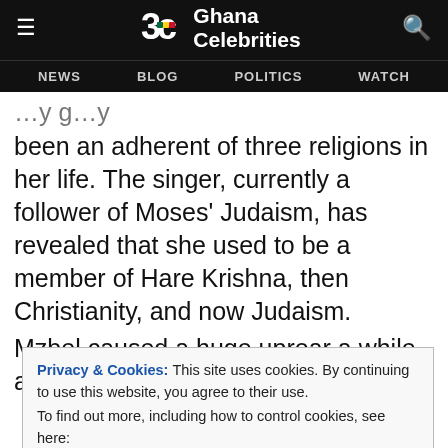Ghana Celebrities – NEWS BLOG POLITICS WATCH
been an adherent of three religions in her life. The singer, currently a follower of Moses' Judaism, has revealed that she used to be a member of Hare Krishna, then Christianity, and now Judaism.
Mzbel caused a huge uproar a while ago when
Privacy & Cookies: This site uses cookies. By continuing to use this website, you agree to their use. To find out more, including how to control cookies, see here: Cookie Policy
Close and Accept
Her comments caused a whole hullabaloo in